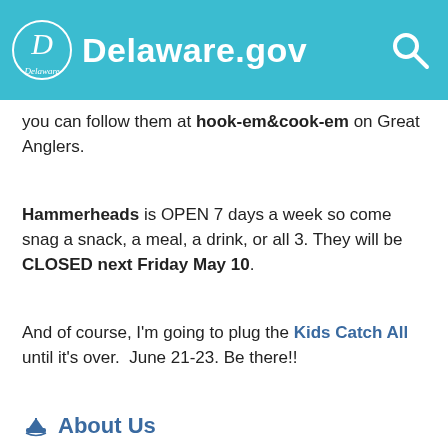Delaware.gov
you can follow them at hook-em&cook-em on Great Anglers.
Hammerheads is OPEN 7 days a week so come snag a snack, a meal, a drink, or all 3. They will be CLOSED next Friday May 10.
And of course, I'm going to plug the Kids Catch All until it's over.  June 21-23. Be there!!
About Us